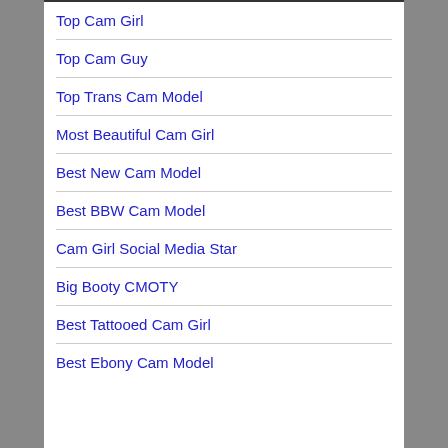Top Cam Girl
Top Cam Guy
Top Trans Cam Model
Most Beautiful Cam Girl
Best New Cam Model
Best BBW Cam Model
Cam Girl Social Media Star
Big Booty CMOTY
Best Tattooed Cam Girl
Best Ebony Cam Model